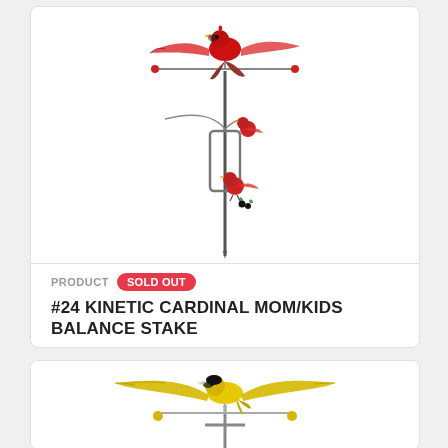[Figure (photo): Kinetic Cardinal Mom/Kids Balance Stake garden ornament — a metal stake with a large red cardinal bird with outstretched wings balanced at the top, connected by curved metal arm to two smaller red cardinals perched lower on the stake]
PRODUCT  SOLD OUT
#24 KINETIC CARDINAL MOM/KIDS BALANCE STAKE
[Figure (photo): Kinetic yellow/gold bird (goldfinch) garden stake ornament with wide outstretched wings, shown from front, mounted on a metal T-bar stake — partially visible at bottom of page]